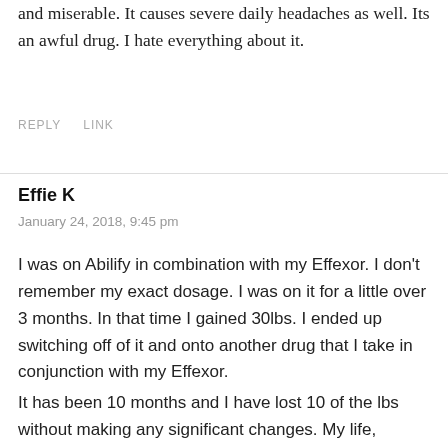and miserable. It causes severe daily headaches as well. Its an awful drug. I hate everything about it.
REPLY   LINK
Effie K
January 24, 2018, 9:45 pm
I was on Abilify in combination with my Effexor. I don't remember my exact dosage. I was on it for a little over 3 months. In that time I gained 30lbs. I ended up switching off of it and onto another drug that I take in conjunction with my Effexor.
It has been 10 months and I have lost 10 of the lbs without making any significant changes. My life, unfortunately, has